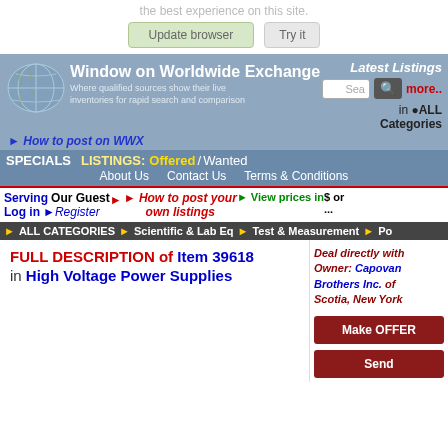the best experience on this site.
[Figure (screenshot): Update browser / Try anyway buttons]
[Figure (screenshot): Window on Worldwide Exchange website header with logo, search, navigation, breadcrumbs, and item listing page for Item 39618 in High Voltage Power Supplies with Make OFFER and Send buttons]
FULL DESCRIPTION of Item 39618 in High Voltage Power Supplies
Deal directly with Owner: Capovani Brothers Inc. of Scotia, New York
Make OFFER
Send